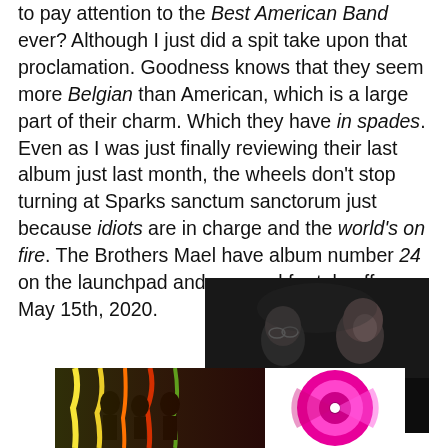to pay attention to the Best American Band ever? Although I just did a spit take upon that proclamation. Goodness knows that they seem more Belgian than American, which is a large part of their charm. Which they have in spades. Even as I was just finally reviewing their last album just last month, the wheels don't stop turning at Sparks sanctum sanctorum just because idiots are in charge and the world's on fire. The Brothers Mael have album number 24 on the launchpad and prepped for takeoff on May 15th, 2020.
[Figure (photo): Black and white portrait photo of two men (The Brothers Mael / Sparks) in profile and three-quarter view against dark background]
[Figure (photo): Album artwork - colorful psychedelic design with dark figures on black background with yellow/multi-color elements, and a pink/magenta circular design on right side]